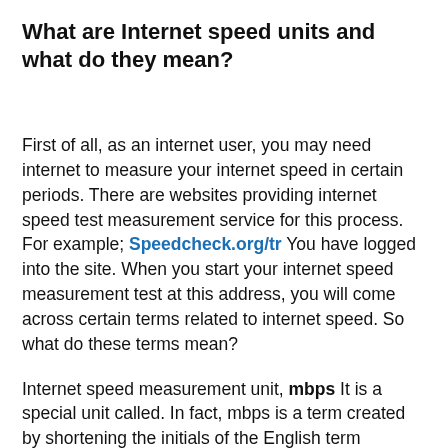What are Internet speed units and what do they mean?
First of all, as an internet user, you may need internet to measure your internet speed in certain periods. There are websites providing internet speed test measurement service for this process. For example; Speedcheck.org/tr You have logged into the site. When you start your internet speed measurement test at this address, you will come across certain terms related to internet speed. So what do these terms mean?
Internet speed measurement unit, mbps It is a special unit called. In fact, mbps is a term created by shortening the initials of the English term